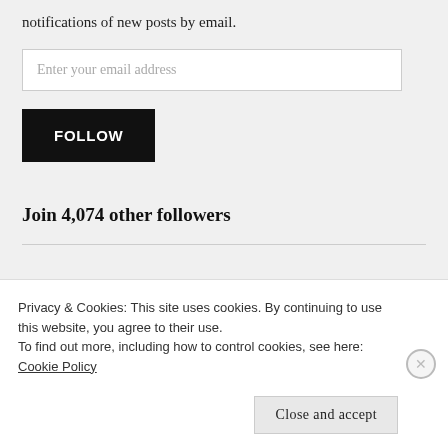notifications of new posts by email.
Enter your email address
FOLLOW
Join 4,074 other followers
Subscribe to updates Rebuilding W…
Privacy & Cookies: This site uses cookies. By continuing to use this website, you agree to their use.
To find out more, including how to control cookies, see here: Cookie Policy
Close and accept